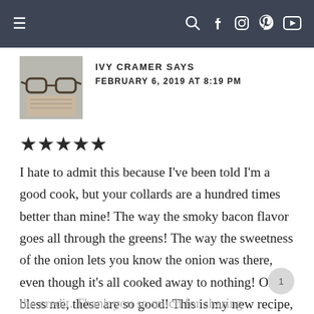≡  🔍 f 📷 p ▶
IVY CRAMER SAYS
FEBRUARY 6, 2019 AT 8:19 PM
★★★★★
I hate to admit this because I've been told I'm a good cook, but your collards are a hundred times better than mine! The way the smoky bacon flavor goes all through the greens! The way the sweetness of the onion lets you know the onion was there, even though it's all cooked away to nothing! Oh, bless me, these are so good! This is my new recipe, but I will give you the credit. Thank you so much for sharing